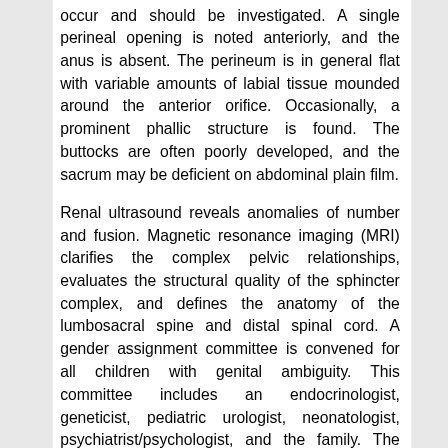occur and should be investigated. A single perineal opening is noted anteriorly, and the anus is absent. The perineum is in general flat with variable amounts of labial tissue mounded around the anterior orifice. Occasionally, a prominent phallic structure is found. The buttocks are often poorly developed, and the sacrum may be deficient on abdominal plain film.
Renal ultrasound reveals anomalies of number and fusion. Magnetic resonance imaging (MRI) clarifies the complex pelvic relationships, evaluates the structural quality of the sphincter complex, and defines the anatomy of the lumbosacral spine and distal spinal cord. A gender assignment committee is convened for all children with genital ambiguity. This committee includes an endocrinologist, geneticist, pediatric urologist, neonatologist, psychiatrist/psychologist, and the family. The child must be stabilized. Genitography to help determine the anatomy (i.e., length of common sinus, location of vaginal confluence, status of bladder, presence or absence of vesicoureteral reflux, or vaginal duplication) has routinely been used in urogenital sinus and cloacal anomalies. We have recently shown that the anatomy is delineated correctly in only 72% of CAH patients (1). Patients with cloacal anomalies have a communication between the urogenital tract and rectum, and vesicoureteral reflux is commonly identified. Endoscopy is imperative to understand this complex anatomy